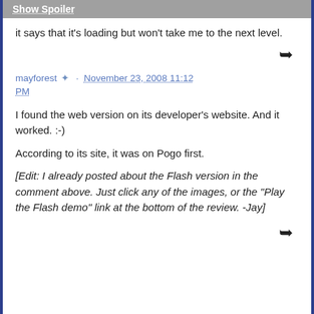Show Spoiler
it says that it's loading but won't take me to the next level.
mayforest · November 23, 2008 11:12 PM
I found the web version on its developer's website. And it worked. :-)
According to its site, it was on Pogo first.
[Edit: I already posted about the Flash version in the comment above. Just click any of the images, or the "Play the Flash demo" link at the bottom of the review. -Jay]